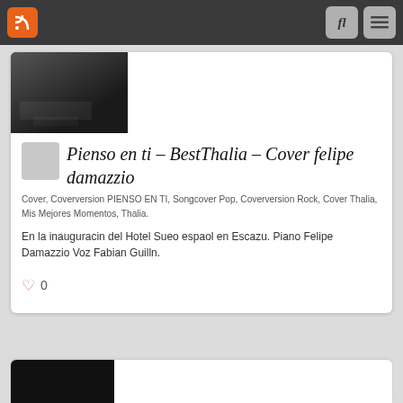RSS feed icon, search button, menu button
[Figure (photo): Thumbnail of a room interior with furniture, dark tones]
Pienso en ti – BestThalia – Cover felipe damazzio
Cover, Coverversion PIENSO EN TI, Songcover Pop, Coverversion Rock, Cover Thalia, Mis Mejores Momentos, Thalia.
En la inauguracin del Hotel Sueo espaol en Escazu. Piano Felipe Damazzio Voz Fabian Guilln.
0